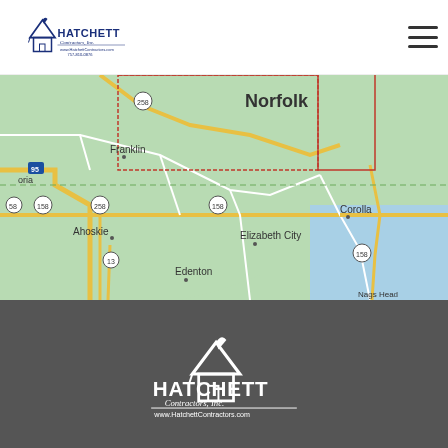[Figure (logo): Hatchett Contractors Inc. logo with house icon, website www.HatchettContractors.com and phone 757-810-0876]
[Figure (map): Google map showing service area from Norfolk VA down to Elizabeth City NC and Corolla NC, including Franklin, Ahoskie, Edenton areas. Route numbers 95, 258, 158, 13 visible.]
[Figure (logo): Hatchett Contractors Inc. white logo on dark grey background with website www.HatchettContractors.com]